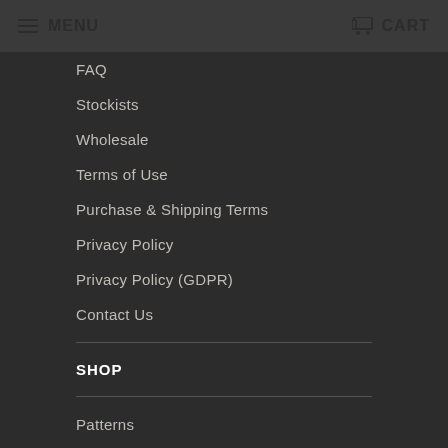MENU   CART
FAQ
Stockists
Wholesale
Terms of Use
Purchase & Shipping Terms
Privacy Policy
Privacy Policy (GDPR)
Contact Us
SHOP
Patterns
New Releases
Notions
Tools of the Trade